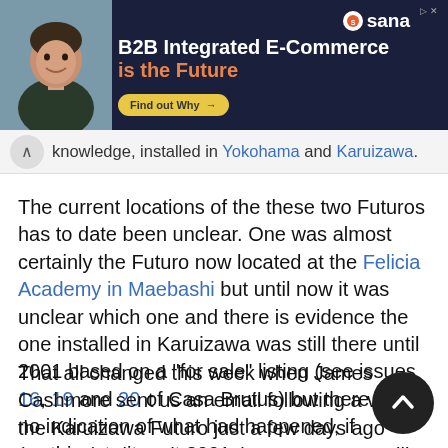[Figure (other): Advertisement banner: B2B Integrated E-Commerce is the Future - Sana Commerce ad with man photo and Find out Why button]
knowledge, installed in Yokohama and Karuizawa.
The current locations of the these two Futuros has to date been unclear. One was almost certainly the Futuro now located at the Felicia Academy in Maebashi but until now it was unclear which one and there is evidence the one installed in Karuizawa was still there until 2001 based on a "for sale" listing (see issues 16, 19 and 20 of Casa Brutus) but there was no indication of what had happened, if anything, to it post 2001.
That all changed this week when James Cashmore sent us an email following a visit to the Karuizawa Futuro just a few days ago (100817). Since the Karuizawa Futuro is still in Karuizawa it now seems almost certain that the Maebashi Futuro is the one that was initially installed in